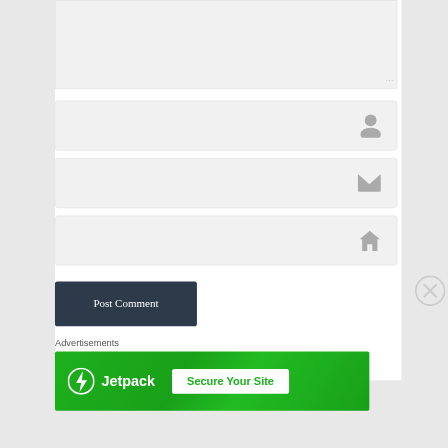[Figure (screenshot): Web form with a textarea (comment box, top partially cropped), three input fields (name, email, website with respective icons), a dark 'Post Comment' button, an 'Advertisements' label, and a Jetpack 'Secure Your Site' green banner ad with a close (X) button.]